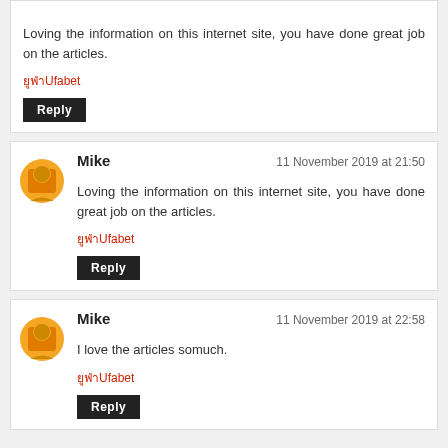Loving the information on this internet site, you have done great job on the articles.
ยูฟ่าUfabet
Reply
Mike | 11 November 2019 at 21:50
Loving the information on this internet site, you have done great job on the articles.
ยูฟ่าUfabet
Reply
Mike | 11 November 2019 at 22:58
I love the articles somuch.
ยูฟ่าUfabet
Reply